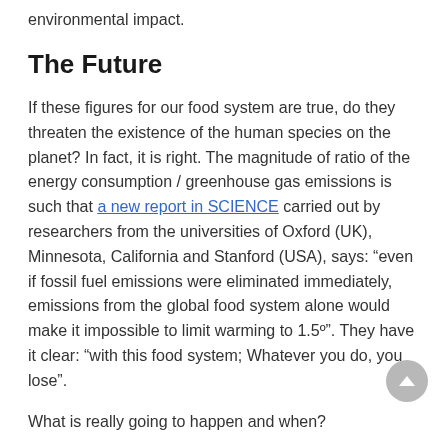environmental impact.
The Future
If these figures for our food system are true, do they threaten the existence of the human species on the planet? In fact, it is right. The magnitude of ratio of the energy consumption / greenhouse gas emissions is such that a new report in SCIENCE carried out by researchers from the universities of Oxford (UK), Minnesota, California and Stanford (USA), says: “even if fossil fuel emissions were eliminated immediately, emissions from the global food system alone would make it impossible to limit warming to 1.5º”. They have it clear: “with this food system; Whatever you do, you lose”.
What is really going to happen and when?